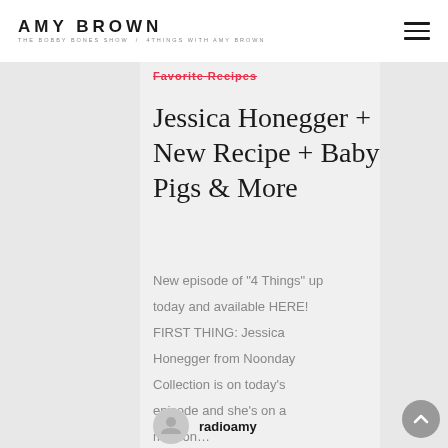AMY BROWN — THE BOBBY BONES SHOW / 4THINGS WITH AMY BROWN
Favorite Recipes
Jessica Honegger + New Recipe + Baby Pigs & More
New episode of "4 Things" up today and available HERE! FIRST THING: Jessica Honegger from Noonday Collection is on today's episode and she's on a mission…
radioamy